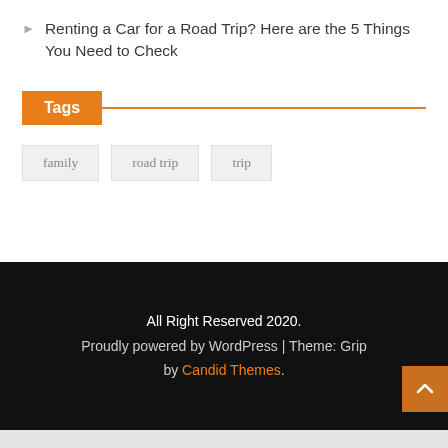Renting a Car for a Road Trip? Here are the 5 Things You Need to Check
Tags
family
road trip
trip
All Right Reserved 2020. Proudly powered by WordPress | Theme: Grip by Candid Themes.